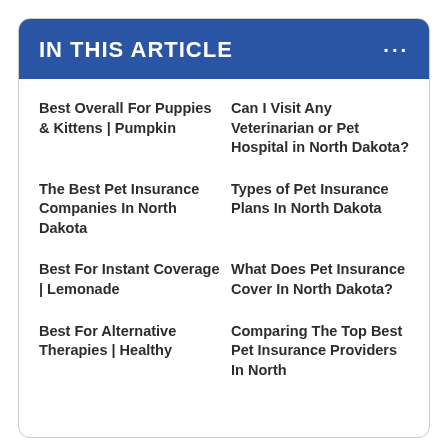IN THIS ARTICLE
Best Overall For Puppies & Kittens | Pumpkin
Can I Visit Any Veterinarian or Pet Hospital in North Dakota?
The Best Pet Insurance Companies In North Dakota
Types of Pet Insurance Plans In North Dakota
Best For Instant Coverage | Lemonade
What Does Pet Insurance Cover In North Dakota?
Best For Alternative Therapies | Healthy
Comparing The Top Best Pet Insurance Providers In North